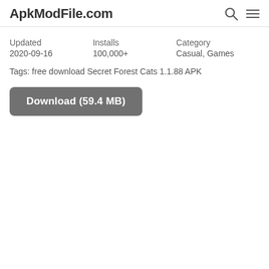ApkModFile.com
| Updated | Installs | Category |
| --- | --- | --- |
| 2020-09-16 | 100,000+ | Casual, Games |
Tags: free download Secret Forest Cats 1.1.88 APK
Download (59.4 MB)